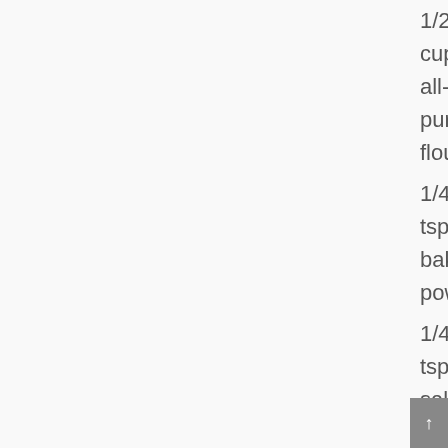1/2 cup all-purpose flour
1/4 tsp baking powder
1/4 tsp salt
DIRECTIONS:
Preheat oven to 350 degrees F. Place two racks in the upper and lower thirds of the oven.
Melt the oil, butter, and 1 cup of the chocolate together in a microwave-safe bowl in the microwave on high heat. Stir the mixture at 1-minute intervals. The total time to melt this mixture will be 2.5-3 minutes. Set aside. (You can also use a double boiler for this step)